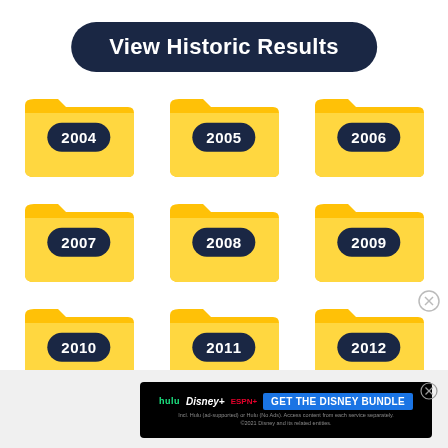View Historic Results
[Figure (infographic): 3x3 grid of yellow folder icons labeled 2004, 2005, 2006, 2007, 2008, 2009, 2010, 2011, 2012]
[Figure (infographic): Disney Bundle advertisement banner: hulu, Disney+, ESPN+ - GET THE DISNEY BUNDLE. Incl. Hulu (ad-supported) or Hulu (No Ads). Access content from each service separately. ©2021 Disney and its related entities.]